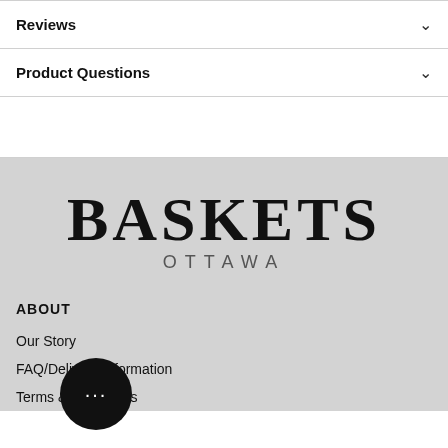Reviews
Product Questions
[Figure (logo): Baskets Ottawa logo with large serif BASKETS text and smaller spaced OTTAWA text below]
ABOUT
Our Story
FAQ/Delivery Information
Terms & Conditions
[Figure (illustration): Chat bubble icon with three dots indicating a live chat widget]